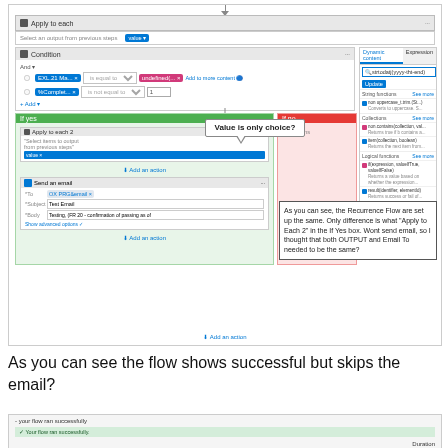[Figure (screenshot): Microsoft Power Automate flow editor showing 'Apply to each' block with a Condition step, Dynamic content panel on the right, an If Yes branch with 'Apply to each 2' and 'Send an email' action, an If No branch, and two callout annotations: 'Value is only choice?' and 'Email to is correct'. Also shows a text comment box: 'As you can see, the Recurrence Flow are set up the same. Only difference is what "Apply to Each 2" in the If Yes box. Wont send email, so I thought that both OUTPUT and Email To needed to be the same?']
As you can see the flow shows successful but skips the email?
[Figure (screenshot): Bottom partial screenshot showing a flow run result with a green success bar and a 'Success' label]